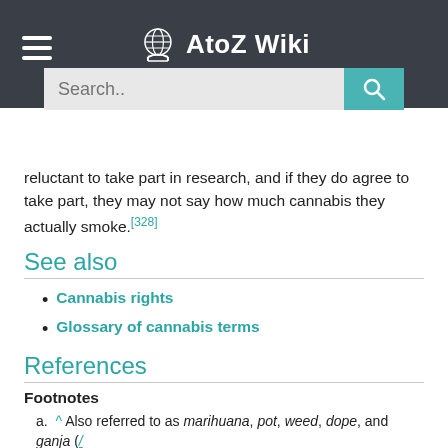AtoZ Wiki (navigation bar with search)
reluctant to take part in research, and if they do agree to take part, they may not say how much cannabis they actually smoke.[328]
See also
Cannabis rights
Glossary of cannabis terms
References
Footnotes
a. ^ Also referred to as marihuana, pot, weed, dope, and ganja (/ˈɡɑːndʒə/),[9][10][11][12] among many other nicknames (grass,